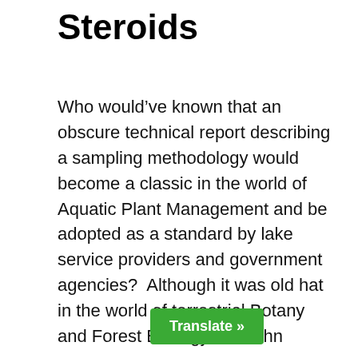Steroids
Who would’ve known that an obscure technical report describing a sampling methodology would become a classic in the world of Aquatic Plant Management and be adopted as a standard by lake service providers and government agencies?  Although it was old hat in the world of terrestrial Botany and Forest Ecology, Dr. John Madsen appeared to be the first to make point-intercept a standard tool for aquatic ecologists and lake managers with his Army Corps of Engineers Technical Note No MI-02 published in 1999 entitled “Point Intercept and Line Intercept Methods for Aquatic Plant M